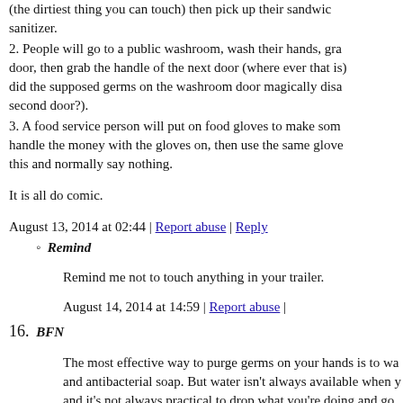(the dirtiest thing you can touch) then pick up their sandwich sanitizer.
2. People will go to a public washroom, wash their hands, grab door, then grab the handle of the next door (where ever that is) did the supposed germs on the washroom door magically disap second door?).
3. A food service person will put on food gloves to make some handle the money with the gloves on, then use the same gloves this and normally say nothing.
It is all do comic.
August 13, 2014 at 02:44 | Report abuse | Reply
Remind
Remind me not to touch anything in your trailer.
August 14, 2014 at 14:59 | Report abuse |
16. BFN
The most effective way to purge germs on your hands is to wa and antibacterial soap. But water isn't always available when y and it's not always practical to drop what you're doing and go w minutes. That's what hand sanitizer is for. It's not snake oil, it r isn't quite as good as full-blown hand washing. In my opinion its place. It's not always practical to march 30 kids to a sink, li